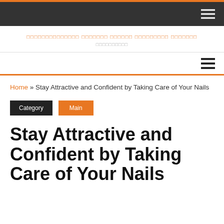[Navigation bar with hamburger menu]
[Figure (logo): Website logo with placeholder unicode text in orange and gray]
[Secondary navigation bar with hamburger menu]
Home » Stay Attractive and Confident by Taking Care of Your Nails
Category  Main
Stay Attractive and Confident by Taking Care of Your Nails